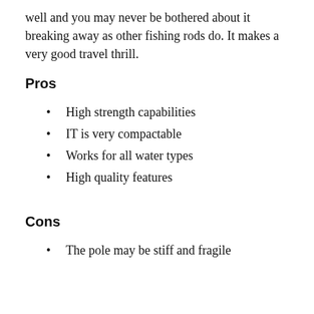well and you may never be bothered about it breaking away as other fishing rods do. It makes a very good travel thrill.
Pros
High strength capabilities
IT is very compactable
Works for all water types
High quality features
Cons
The pole may be stiff and fragile